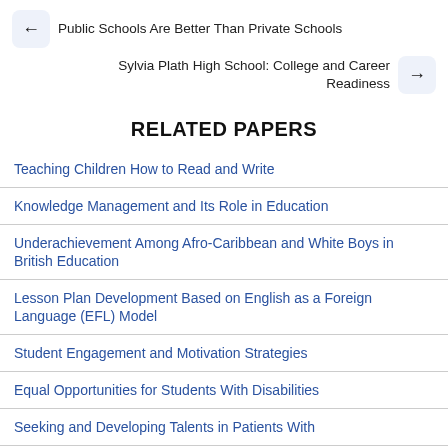← Public Schools Are Better Than Private Schools
Sylvia Plath High School: College and Career Readiness →
RELATED PAPERS
Teaching Children How to Read and Write
Knowledge Management and Its Role in Education
Underachievement Among Afro-Caribbean and White Boys in British Education
Lesson Plan Development Based on English as a Foreign Language (EFL) Model
Student Engagement and Motivation Strategies
Equal Opportunities for Students With Disabilities
Seeking and Developing Talents in Patients With